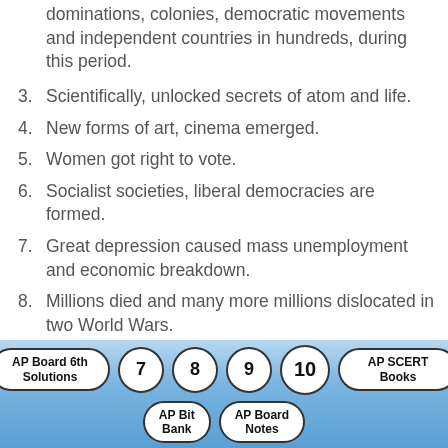dominations, colonies, democratic movements and independent countries in hundreds, during this period.
3. Scientifically, unlocked secrets of atom and life.
4. New forms of art, cinema emerged.
5. Women got right to vote.
6. Socialist societies, liberal democracies are formed.
7. Great depression caused mass unemployment and economic breakdown.
8. Millions died and many more millions dislocated in two World Wars.
9. World governments like United Nations were
AP Board 6th Solutions   7   8   9   10   AP SCERT Books   AP Bit Bank   AP Board Notes